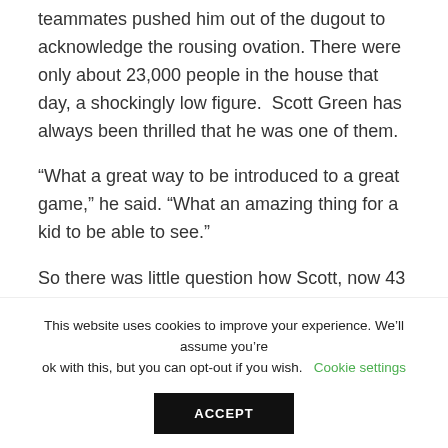teammates pushed him out of the dugout to acknowledge the rousing ovation. There were only about 23,000 people in the house that day, a shockingly low figure.  Scott Green has always been thrilled that he was one of them.
“What a great way to be introduced to a great game,” he said. “What an amazing thing for a kid to be able to see.”
So there was little question how Scott, now 43 and a landscaper who lives in Hampton Bays on Long
This website uses cookies to improve your experience. We’ll assume you’re ok with this, but you can opt-out if you wish.  Cookie settings  ACCEPT